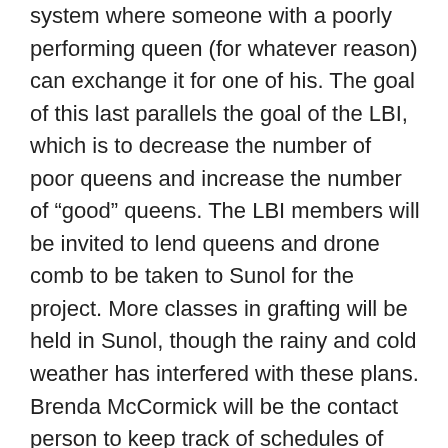system where someone with a poorly performing queen (for whatever reason) can exchange it for one of his. The goal of this last parallels the goal of the LBI, which is to decrease the number of poor queens and increase the number of “good” queens. The LBI members will be invited to lend queens and drone comb to be taken to Sunol for the project. More classes in grafting will be held in Sunol, though the rainy and cold weather has interfered with these plans. Brenda McCormick will be the contact person to keep track of schedules of who is willing to perform what duties regarding the production of queens from LBI hives. After committee reports, Phil Stob demonstrated three types of splits: the OTS (On the Spot), Walk-Away, and Doolittle types of splits. When the Webpage is available, materials explaining the